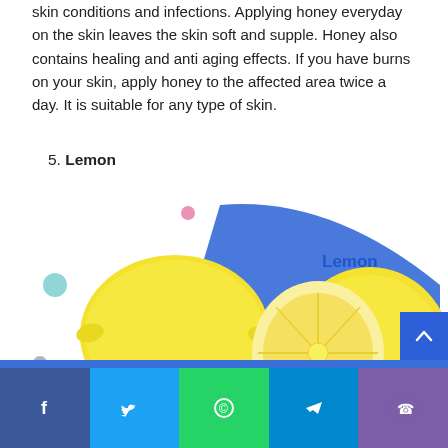skin conditions and infections. Applying honey everyday on the skin leaves the skin soft and supple. Honey also contains healing and anti aging effects. If you have burns on your skin, apply honey to the affected area twice a day. It is suitable for any type of skin.
5. Lemon
[Figure (photo): Photo of lemons — one whole lemon, one half lemon, and one lemon wedge with green leaves, with a blue curved swoosh graphic and the label 'Lemon' in bold blue text, plus decorative colored dots]
Facebook | Twitter | WhatsApp | Telegram | Phone social share bar